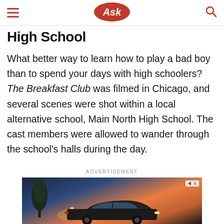Ask
High School
What better way to learn how to play a bad boy than to spend your days with high schoolers? The Breakfast Club was filmed in Chicago, and several scenes were shot within a local alternative school, Main North High School. The cast members were allowed to wander through the school's halls during the day.
ADVERTISEMENT
[Figure (photo): Advertisement showing a car parked outside a venue at dusk with trees and warm lighting in the background.]